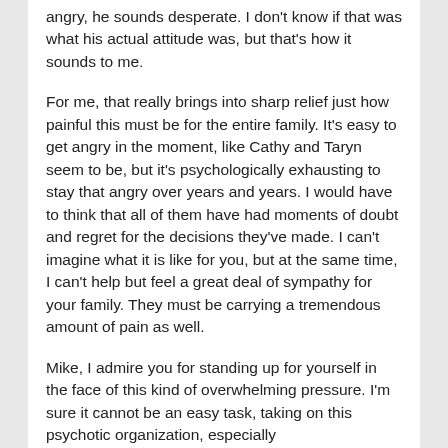angry, he sounds desperate. I don't know if that was what his actual attitude was, but that's how it sounds to me.
For me, that really brings into sharp relief just how painful this must be for the entire family. It's easy to get angry in the moment, like Cathy and Taryn seem to be, but it's psychologically exhausting to stay that angry over years and years. I would have to think that all of them have had moments of doubt and regret for the decisions they've made. I can't imagine what it is like for you, but at the same time, I can't help but feel a great deal of sympathy for your family. They must be carrying a tremendous amount of pain as well.
Mike, I admire you for standing up for yourself in the face of this kind of overwhelming pressure. I'm sure it cannot be an easy task, taking on this psychotic organization, especially